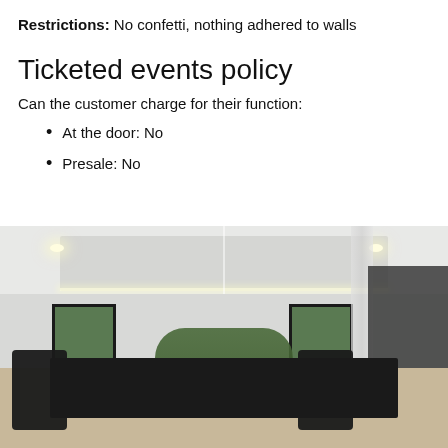Restrictions: No confetti, nothing adhered to walls
Ticketed events policy
Can the customer charge for their function:
At the door: No
Presale: No
[Figure (photo): Interior photo of a modern dining room with a long set table with black chairs and greenery centerpieces, large black-framed windows, recessed and pendant lighting, and a staircase on the right side.]